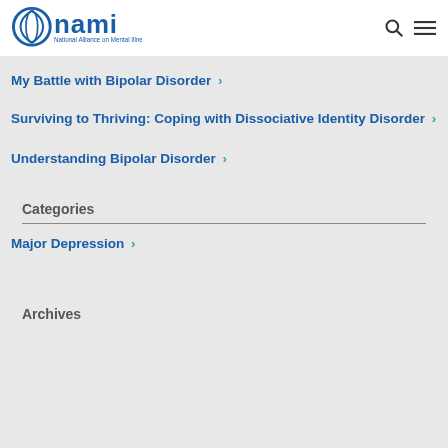[Figure (logo): NAMI logo — National Alliance on Mental Illness]
My Battle with Bipolar Disorder >
Surviving to Thriving: Coping with Dissociative Identity Disorder >
Understanding Bipolar Disorder >
Categories
Major Depression >
Archives